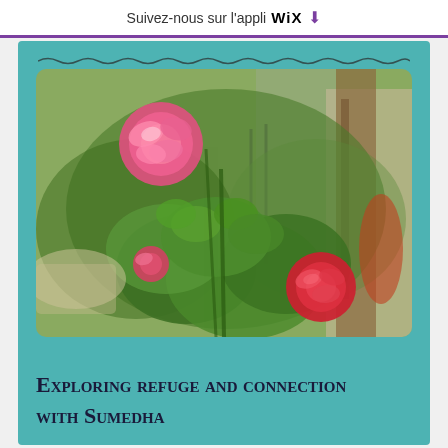Suivez-nous sur l'appli WiX ⬇
[Figure (photo): A garden scene with rose bushes featuring pink and red roses in bloom, green foliage, a gate or fence structure in the background, and a rustic outdoor setting.]
Exploring refuge and connection with Sumedha